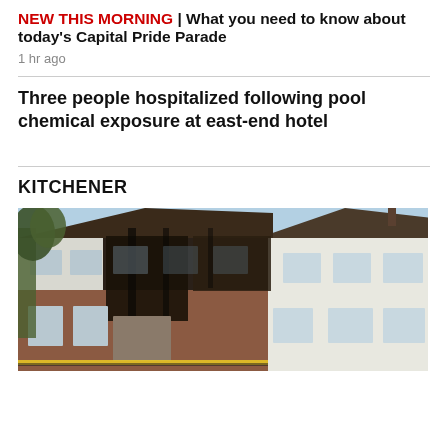NEW THIS MORNING | What you need to know about today's Capital Pride Parade
1 hr ago
Three people hospitalized following pool chemical exposure at east-end hotel
KITCHENER
[Figure (photo): Fire-damaged two-storey residential house with charred facade, broken windows, and scorched siding. Yellow caution tape visible at bottom.]